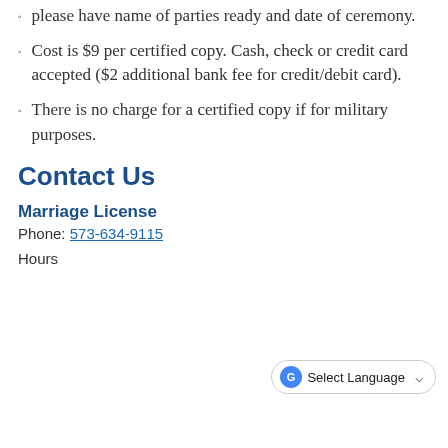When calling or showing up in person, please have name of parties ready and date of ceremony.
Cost is $9 per certified copy.  Cash, check or credit card accepted ($2 additional bank fee for credit/debit card).
There is no charge for a certified copy if for military purposes.
Contact Us
Marriage License
Phone: 573-634-9115
Hours